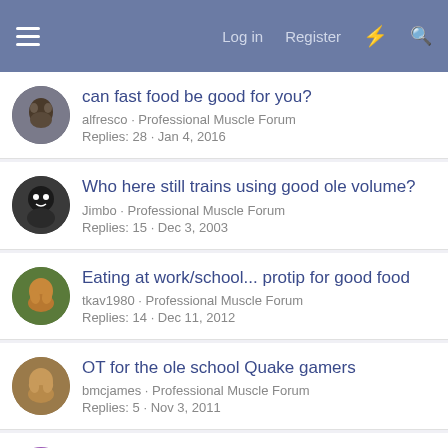Log in · Register
can fast food be good for you?
alfresco · Professional Muscle Forum
Replies: 28 · Jan 4, 2016
Who here still trains using good ole volume?
Jimbo · Professional Muscle Forum
Replies: 15 · Dec 3, 2003
Eating at work/school... protip for good food
tkav1980 · Professional Muscle Forum
Replies: 14 · Dec 11, 2012
OT for the ole school Quake gamers
bmcjames · Professional Muscle Forum
Replies: 5 · Nov 3, 2011
calcium score of 1 at 35 years old good?
buzzbomb138 · Professional Muscle Forum
Replies: 10 · Feb 13, 2022